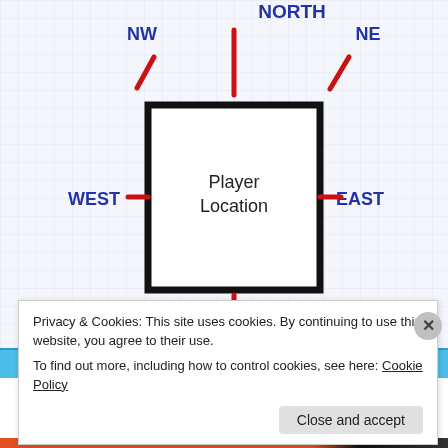[Figure (schematic): Compass-style diagram showing a square labeled 'Player Location' in the center, with red tick marks pointing outward in 8 directions (N, NE, E, SE, S, SW, W, NW), each labeled with blue text on a grid background.]
Privacy & Cookies: This site uses cookies. By continuing to use this website, you agree to their use.
To find out more, including how to control cookies, see here: Cookie Policy